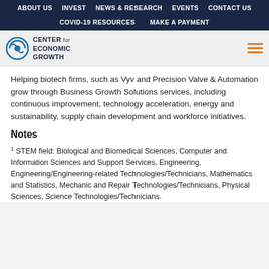ABOUT US | INVEST | NEWS & RESEARCH | EVENTS | CONTACT US | COVID-19 RESOURCES | MAKE A PAYMENT
[Figure (logo): Center for Economic Growth logo with navigation bar]
Helping biotech firms, such as Vyv and Precision Valve & Automation grow through Business Growth Solutions services, including continuous improvement, technology acceleration, energy and sustainability, supply chain development and workforce initiatives.
Notes
1 STEM field: Biological and Biomedical Sciences, Computer and Information Sciences and Support Services, Engineering, Engineering/Engineering-related Technologies/Technicians, Mathematics and Statistics, Mechanic and Repair Technologies/Technicians, Physical Sciences, Science Technologies/Technicians.